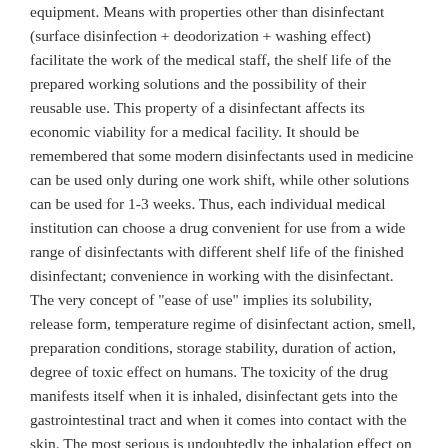equipment. Means with properties other than disinfectant (surface disinfection + deodorization + washing effect) facilitate the work of the medical staff, the shelf life of the prepared working solutions and the possibility of their reusable use. This property of a disinfectant affects its economic viability for a medical facility. It should be remembered that some modern disinfectants used in medicine can be used only during one work shift, while other solutions can be used for 1-3 weeks. Thus, each individual medical institution can choose a drug convenient for use from a wide range of disinfectants with different shelf life of the finished disinfectant; convenience in working with the disinfectant. The very concept of "ease of use" implies its solubility, release form, temperature regime of disinfectant action, smell, preparation conditions, storage stability, duration of action, degree of toxic effect on humans. The toxicity of the drug manifests itself when it is inhaled, disinfectant gets into the gastrointestinal tract and when it comes into contact with the skin. The most serious is undoubtedly the inhalation effect on humans. Inhalation of disinfectant happens much more often compared to accidental ingestion. The inhalation hazard is assessed according to the zone of acute toxic effect. In medical institutions, it is possible to use drugs belonging to 3 and 4 hazard classes (class 3 - moderately hazardous agents that can be used by medical personnel without the use of personal protective